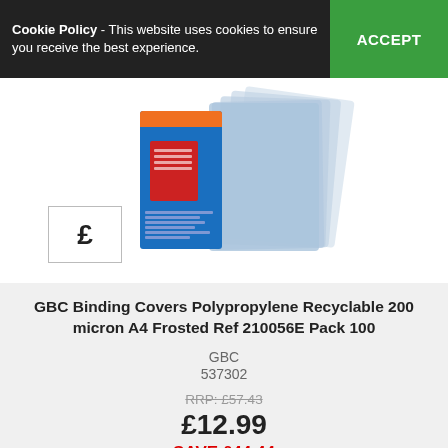Cookie Policy - This website uses cookies to ensure you receive the best experience. ACCEPT
[Figure (photo): GBC Binding Covers product photo: a retail box with frosted polypropylene A4 cover sheets fanned out beside it. A small thumbnail box shows a pound sign (£).]
GBC Binding Covers Polypropylene Recyclable 200 micron A4 Frosted Ref 210056E Pack 100
GBC
537302
RRP: £57.43
£12.99
SAVE £44.44